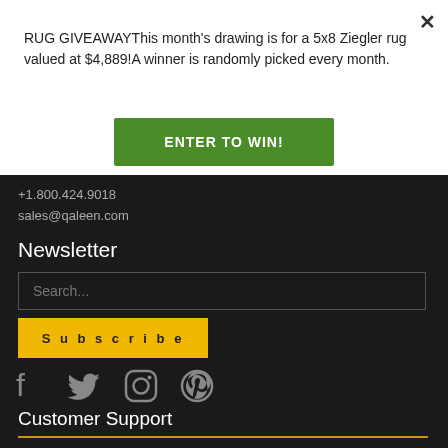RUG GIVEAWAYThis month's drawing is for a 5x8 Ziegler rug valued at $4,889!A winner is randomly picked every month.
ENTER TO WIN!
+1.800.424.9018
sales@qaleen.com
Newsletter
Search...
Subscribe
[Figure (other): Social media icons: Facebook, Twitter, Instagram, Pinterest]
Customer Support
How To Order